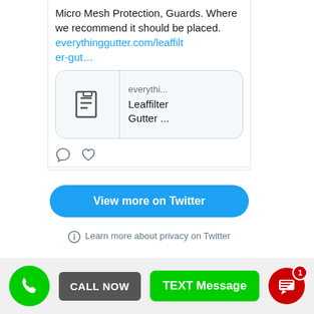Micro Mesh Protection, Guards. Where we recommend it should be placed. everythinggutter.com/leaffilter-gut…
[Figure (screenshot): Link preview card showing a document icon on the left and 'everythi... Leaffilter Gutter ...' text on the right]
[Figure (infographic): Tweet action icons: comment bubble and heart]
View more on Twitter
Learn more about privacy on Twitter
[Figure (infographic): Bottom action bar with phone button (green), CALL NOW button (grey), TEXT Message button (green), SMS button (red with badge 1)]